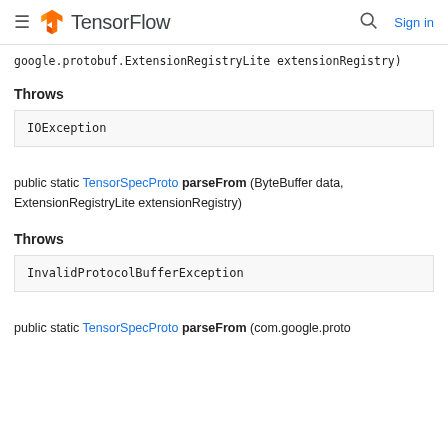TensorFlow
google.protobuf.ExtensionRegistryLite extensionRegistry)
Throws
| IOException |
public static TensorSpecProto parseFrom (ByteBuffer data, ExtensionRegistryLite extensionRegistry)
Throws
| InvalidProtocolBufferException |
public static TensorSpecProto parseFrom (com.google.proto